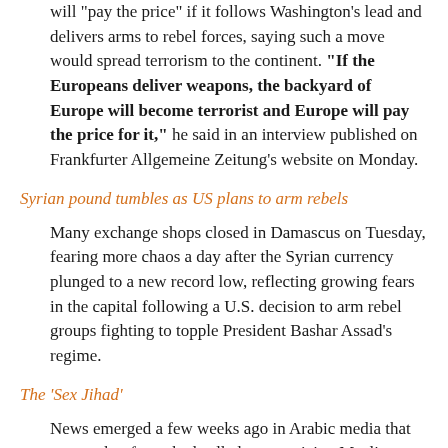will "pay the price" if it follows Washington's lead and delivers arms to rebel forces, saying such a move would spread terrorism to the continent. "If the Europeans deliver weapons, the backyard of Europe will become terrorist and Europe will pay the price for it," he said in an interview published on Frankfurter Allgemeine Zeitung's website on Monday.
Syrian pound tumbles as US plans to arm rebels
Many exchange shops closed in Damascus on Tuesday, fearing more chaos a day after the Syrian currency plunged to a new record low, reflecting growing fears in the capital following a U.S. decision to arm rebel groups fighting to topple President Bashar Assad's regime.
The 'Sex Jihad'
News emerged a few weeks ago in Arabic media that yet another fatwa had called on practicing Muslim women to travel to Syria and offer their